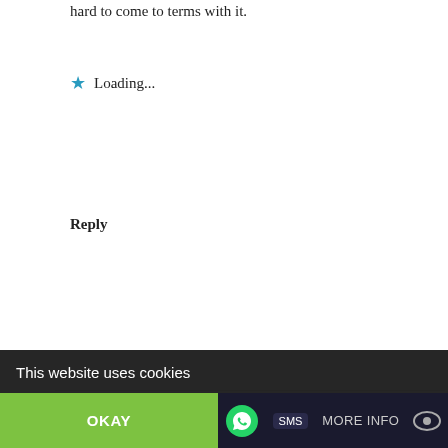hard to come to terms with it.
Loading...
Reply
Niranjan
July 26, 2013 at 10:27 am
Well captured! Apathy stands out as the common theme of all the photos. The third-world just refuses to come out of it, partly by it's own choice. As a third-worlder, I understand that it is quite the issue. coined
This website uses cookies
OKAY
MORE INFO